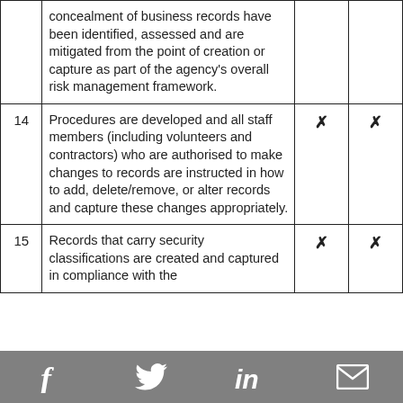| # | Description | Col3 | Col4 |
| --- | --- | --- | --- |
|  | concealment of business records have been identified, assessed and are mitigated from the point of creation or capture as part of the agency's overall risk management framework. |  |  |
| 14 | Procedures are developed and all staff members (including volunteers and contractors) who are authorised to make changes to records are instructed in how to add, delete/remove, or alter records and capture these changes appropriately. | ✗ | ✗ |
| 15 | Records that carry security classifications are created and captured in compliance with the | ✗ | ✗ |
Social media icons: Facebook, Twitter, LinkedIn, Email